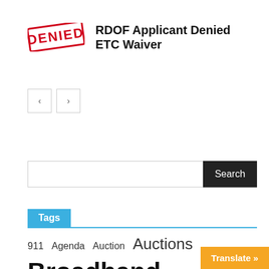[Figure (illustration): Red 'DENIED' rubber stamp graphic with bold red letters in a bordered rectangle, slightly tilted]
RDOF Applicant Denied ETC Waiver
[Figure (other): Navigation arrow buttons: left arrow and right arrow in square bordered boxes]
[Figure (other): Search input field with a dark 'Search' button on the right]
Tags
911  Agenda  Auction  Auctions  Broadband  Broadcast  Broa…
[Figure (other): Orange 'Translate »' button in the bottom right corner]